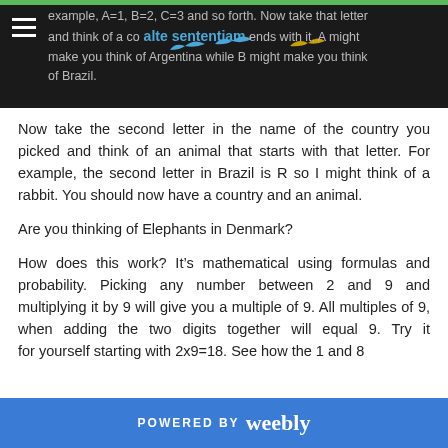alte sententiam
example, A=1, B=2, C=3 and so forth. Now take that letter and think of a country that ends with it. A might make you think of Argentina while B might make you think of Brazil.
Now take the second letter in the name of the country you picked and think of an animal that starts with that letter. For example, the second letter in Brazil is R so I might think of a rabbit. You should now have a country and an animal.
Are you thinking of Elephants in Denmark?
How does this work? It’s mathematical using formulas and probability. Picking any number between 2 and 9 and multiplying it by 9 will give you a multiple of 9. All multiples of 9, when adding the two digits together will equal 9. Try it for yourself starting with 2x9=18. See how the 1 and 8
POWERED BY weebly